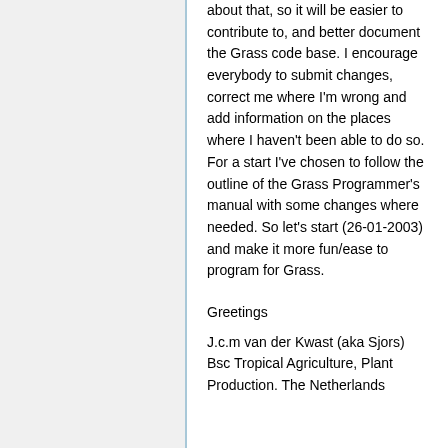about that, so it will be easier to contribute to, and better document the Grass code base. I encourage everybody to submit changes, correct me where I'm wrong and add information on the places where I haven't been able to do so. For a start I've chosen to follow the outline of the Grass Programmer's manual with some changes where needed. So let's start (26-01-2003) and make it more fun/ease to program for Grass.
Greetings
J.c.m van der Kwast (aka Sjors) Bsc Tropical Agriculture, Plant Production. The Netherlands